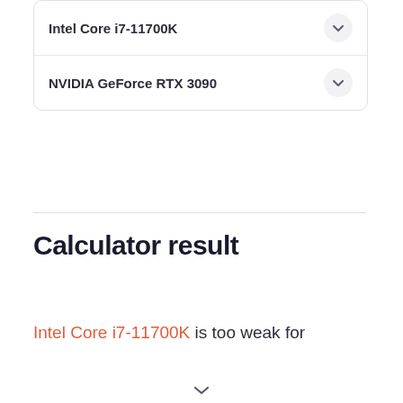Intel Core i7-11700K
NVIDIA GeForce RTX 3090
Calculator result
Intel Core i7-11700K is too weak for